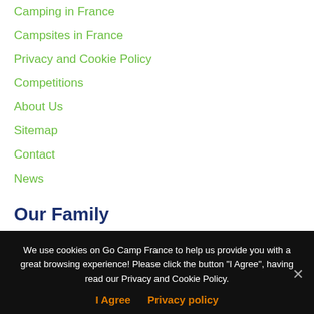Camping in France
Campsites in France
Privacy and Cookie Policy
Competitions
About Us
Sitemap
Contact
News
Our Family
Camping Corsica
France Ferry Booker
We use cookies on Go Camp France to help us provide you with a great browsing experience! Please click the button "I Agree", having read our Privacy and Cookie Policy.
I Agree   Privacy policy